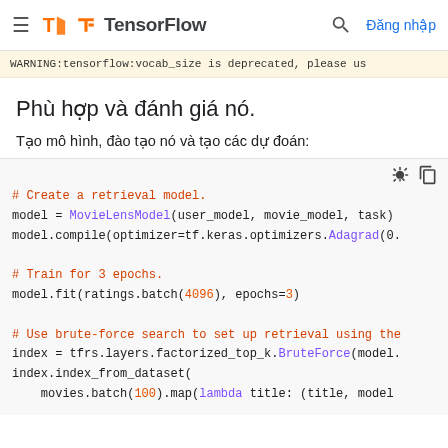TensorFlow — Đăng nhập
WARNING:tensorflow:vocab_size is deprecated, please us
Phù hợp và đánh giá nó.
Tạo mô hình, đào tạo nó và tạo các dự đoán:
# Create a retrieval model.
model = MovieLensModel(user_model, movie_model, task)
model.compile(optimizer=tf.keras.optimizers.Adagrad(0.

# Train for 3 epochs.
model.fit(ratings.batch(4096), epochs=3)

# Use brute-force search to set up retrieval using the
index = tfrs.layers.factorized_top_k.BruteForce(model.
index.index_from_dataset(
    movies.batch(100).map(lambda title: (title, model